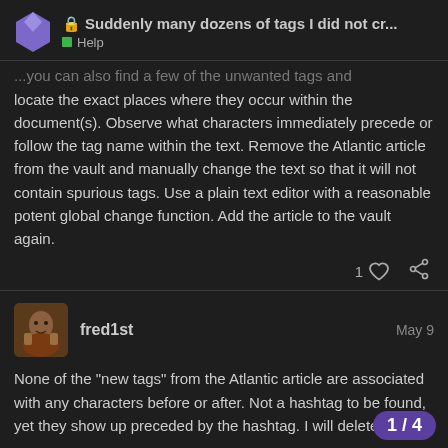Suddenly many dozens of tags I did not cr... | Help
...you can also find a few of the unwanted tags and locate the exact places where they occur within the document(s). Observe what characters immediately precede or follow the tag name within the text. Remove the Atlantic article from the vault and manually change the text so that it will not contain spurious tags. Use a plain text editor with a reasonable potent global change function. Add the article to the vault again.
fred1st — May 9
None of the “new tags” from the Atlantic article are associated with any characters before or after. Not a hashtag to be found, yet they show up preceded by the hashtag. I will delete